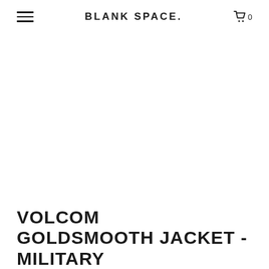BLANK SPACE.
[Figure (photo): Product image area - white/blank space for product photo]
VOLCOM GOLDSMOOTH JACKET - MILITARY